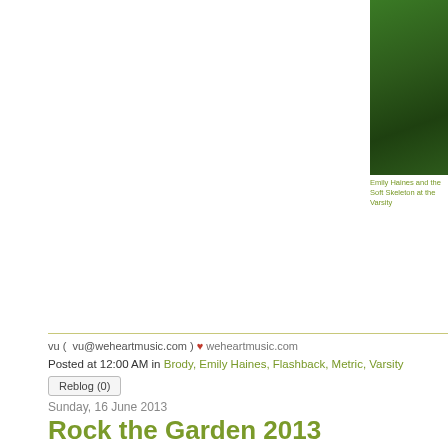[Figure (photo): Green garden/grass aerial photo, partially cropped on right side of page]
Emily Haines and the Soft Skeleton at the Varsity
vu ( vu@weheartmusic.com ) ♥ weheartmusic.com
Posted at 12:00 AM in Brody, Emily Haines, Flashback, Metric, Varsity
Reblog (0)
Sunday, 16 June 2013
Rock the Garden 2013
The popular annual Summer music festival, Rock the Garden, just took pla
The outdoor festival had a rocky start with heavy, heavy rain. Dan Deacon the weather, and he decided at the last minute to move his set to the smalle
By the time Low took the stage, the sun